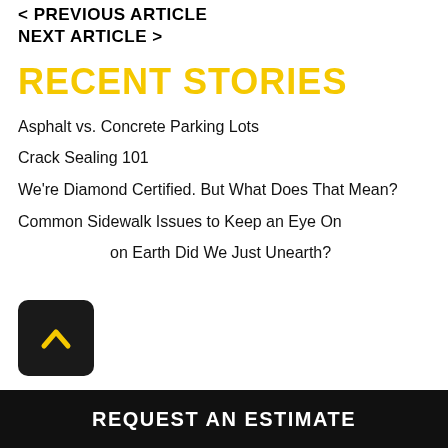< PREVIOUS ARTICLE
NEXT ARTICLE >
RECENT STORIES
Asphalt vs. Concrete Parking Lots
Crack Sealing 101
We're Diamond Certified. But What Does That Mean?
Common Sidewalk Issues to Keep an Eye On
What on Earth Did We Just Unearth?
[Figure (illustration): Black rounded square button with a yellow upward-pointing chevron/caret icon]
REQUEST AN ESTIMATE